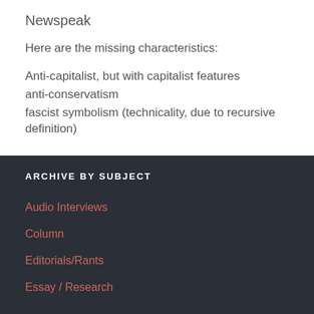Newspeak
Here are the missing characteristics:
Anti-capitalist, but with capitalist features
anti-conservatism
fascist symbolism (technicality, due to recursive definition)
ARCHIVE BY SUBJECT
Audio Interviews
Column
Editorials/Rants
Essay / Research